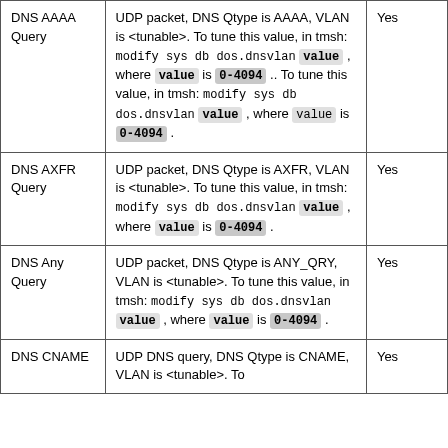| DNS AAAA Query | UDP packet, DNS Qtype is AAAA, VLAN is <tunable>. To tune this value, in tmsh: modify sys db dos.dnsvlan value , where value is 0-4094 .. To tune this value, in tmsh: modify sys db dos.dnsvlan value , where value is 0-4094 . | Yes |
| DNS AXFR Query | UDP packet, DNS Qtype is AXFR, VLAN is <tunable>. To tune this value, in tmsh: modify sys db dos.dnsvlan value , where value is 0-4094 . | Yes |
| DNS Any Query | UDP packet, DNS Qtype is ANY_QRY, VLAN is <tunable>. To tune this value, in tmsh: modify sys db dos.dnsvlan value , where value is 0-4094 . | Yes |
| DNS CNAME | UDP DNS query, DNS Qtype is CNAME, VLAN is <tunable>. To | Yes |